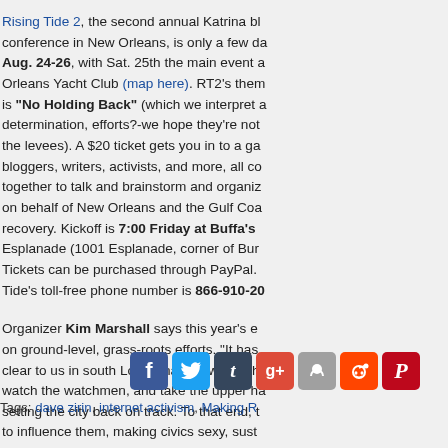Rising Tide 2, the second annual Katrina bloggers conference in New Orleans, is only a few days away: Aug. 24-26, with Sat. 25th the main event at the New Orleans Yacht Club (map here). RT2's theme is "No Holding Back" (which we interpret as determination, efforts?-we hope they're not holding the levees). A $20 ticket gets you in to a gathering of bloggers, writers, activists, and more, all coming together to talk and brainstorm and organize on behalf of New Orleans and the Gulf Coast's recovery. Kickoff is 7:00 Friday at Buffa's on Esplanade (1001 Esplanade, corner of Burg...). Tickets can be purchased through PayPal. Rising Tide's toll-free phone number is 866-910-20...
Organizer Kim Marshall says this year's emphasis is on ground-level, grass-roots efforts. "It has become clear to us in south Louisiana that we will have to watch the watchmen, and take the upper hand in setting the city back on track. To that end, the way to influence them, making civics sexy, susta...
(more…)
[Figure (infographic): Social media sharing icons: Facebook, Twitter, Tumblr, Google+, StumbleUpon, Reddit, Pinterest]
Tags: dave zirin, internet activism, Making R...